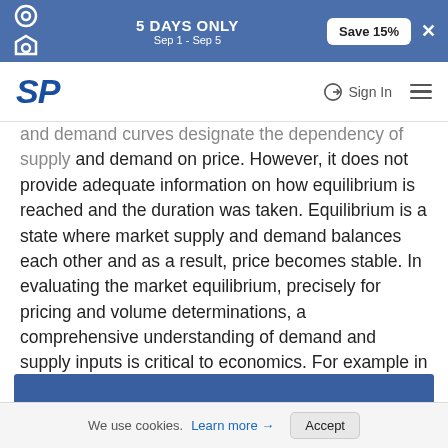5 DAYS ONLY Sep 1 - Sep 5 | Save 15%
SP | Sign In
and demand curves designate the dependency of supply and demand on price. However, it does not provide adequate information on how equilibrium is reached and the duration was taken. Equilibrium is a state where market supply and demand balances each other and as a result, price becomes stable. In evaluating the market equilibrium, precisely for pricing and volume determinations, a comprehensive understanding of demand and supply inputs is critical to economics. For example in the real economy, market prices are affected by the inventory of goods detained by the manufacturers rather than the ratio at which they are supplying goods.
We use cookies. Learn more → Accept